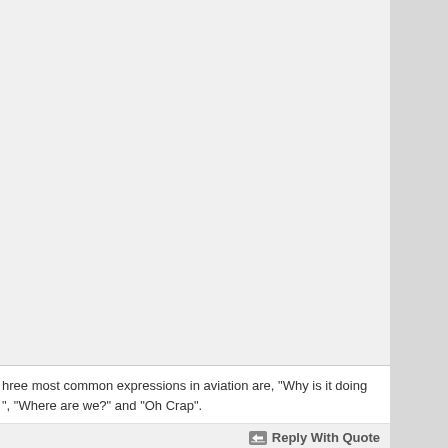hree most common expressions in aviation are, "Why is it doing ", "Where are we?" and "Oh Crap".
Reply With Quote
#1862
bad this didn't happen during the day where someone could e got a good shot of it. Anyway I'm happy it turned out alright.
[Figure (screenshot): YouTube video embed showing 'Alitalia Emergency Landing wit...' with subtitle text 'NY APP: I'll just read what I've got: the wind is... 2351 observation, wind is...' and a play button]